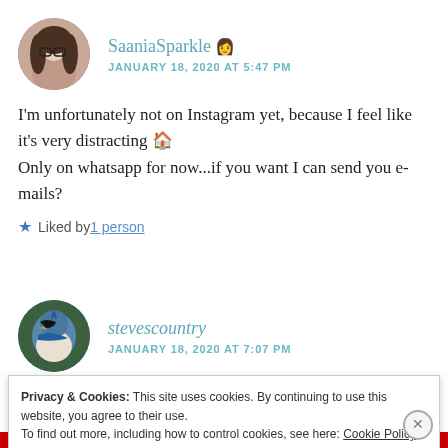[Figure (photo): Circular avatar photo of SaaniaSparkle, a young woman with glasses and long dark hair]
SaaniaSparkle 👩 JANUARY 18, 2020 AT 5:47 PM
I'm unfortunately not on Instagram yet, because I feel like it's very distracting 🏠
Only on whatsapp for now...if you want I can send you e-mails?
★ Liked by 1 person
[Figure (photo): Circular avatar photo of stevescountry showing a blue jay bird]
stevescountry JANUARY 18, 2020 AT 7:07 PM
Privacy & Cookies: This site uses cookies. By continuing to use this website, you agree to their use.
To find out more, including how to control cookies, see here: Cookie Policy
Close and accept